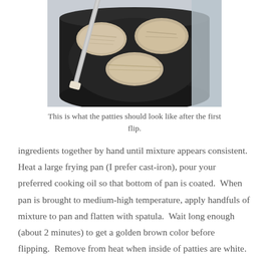[Figure (photo): A cast-iron frying pan with several flattened patties cooking, a spatula resting across the pan, viewed from above on a light surface.]
This is what the patties should look like after the first flip.
ingredients together by hand until mixture appears consistent.  Heat a large frying pan (I prefer cast-iron), pour your preferred cooking oil so that bottom of pan is coated.  When pan is brought to medium-high temperature, apply handfuls of mixture to pan and flatten with spatula.  Wait long enough (about 2 minutes) to get a golden brown color before flipping.  Remove from heat when inside of patties are white.